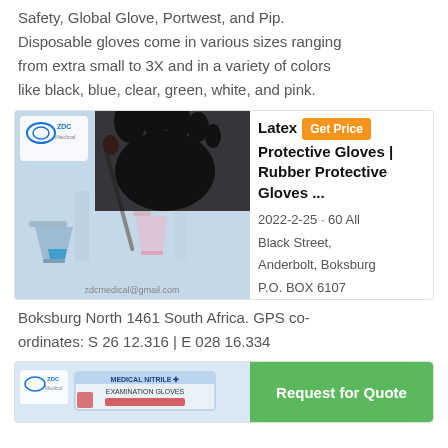Safety, Global Glove, Portwest, and Pip. Disposable gloves come in various sizes ranging from extra small to 3X and in a variety of colors like black, blue, clear, green, white, and pink.
[Figure (photo): Photo of a black latex glove holding a pipette over laboratory glassware, with a logo in top-left and zdcmedical@gmail.com watermark]
Latex
Latex Protective Gloves | Rubber Protective Gloves ...
Get Price
2022-2-25 · 60 All Black Street, Anderbolt, Boksburg P.O. BOX 6107
Boksburg North 1461 South Africa. GPS co-ordinates: S 26 12.316 | E 028 16.334
[Figure (photo): Small image of a box of Medical Nitrile Examination Gloves with a logo]
Request for Quote